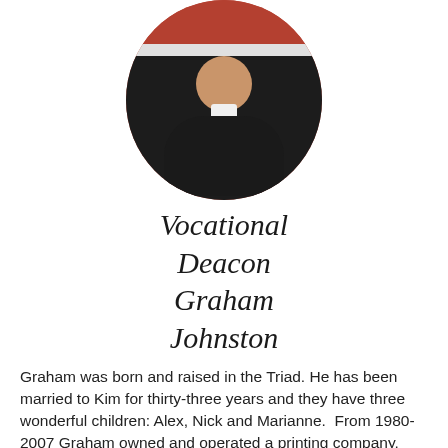[Figure (photo): Circular portrait photo of Vocational Deacon Graham Johnston wearing black clerical attire with white collar, against a reddish-brown background]
Vocational Deacon Graham Johnston
Graham was born and raised in the Triad. He has been married to Kim for thirty-three years and they have three wonderful children: Alex, Nick and Marianne.  From 1980-2007 Graham owned and operated a printing company, and in 2012 started Stone Street Properties.  He has received a degree in Pastoral Ministries from John Wesley College and was ordained to the deaconate in January 2006. Graham works as a realtor in